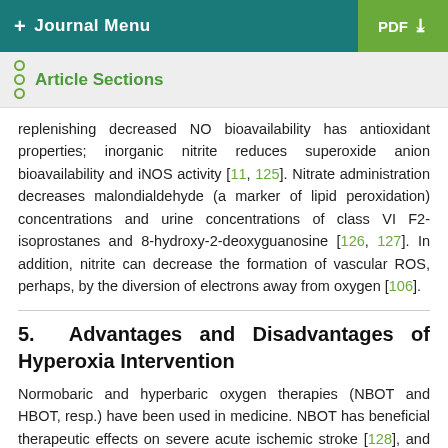+ Journal Menu | PDF
Article Sections
replenishing decreased NO bioavailability has antioxidant properties; inorganic nitrite reduces superoxide anion bioavailability and iNOS activity [11, 125]. Nitrate administration decreases malondialdehyde (a marker of lipid peroxidation) concentrations and urine concentrations of class VI F2-isoprostanes and 8-hydroxy-2-deoxyguanosine [126, 127]. In addition, nitrite can decrease the formation of vascular ROS, perhaps, by the diversion of electrons away from oxygen [106].
5. Advantages and Disadvantages of Hyperoxia Intervention
Normobaric and hyperbaric oxygen therapies (NBOT and HBOT, resp.) have been used in medicine. NBOT has beneficial therapeutic effects on severe acute ischemic stroke [128], and HBOT is therapeutically used in cardiovascular diseases, sleep